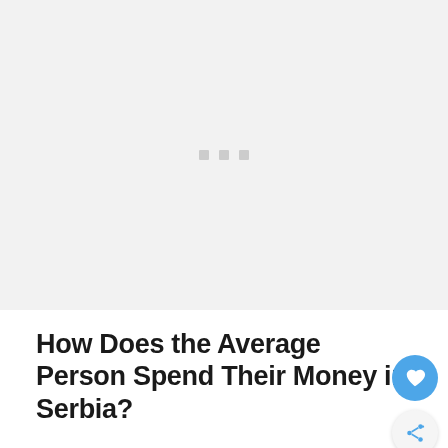[Figure (other): Image placeholder with three gray dots centered on light gray background]
How Does the Average Person Spend Their Money in Serbia?
Most people in Serbia have a problem with